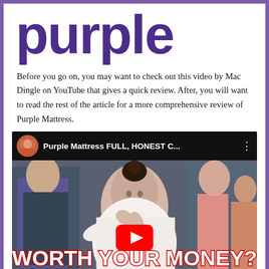[Figure (logo): Purple brand logo in large bold dark purple text]
Before you go on, you may want to check out this video by Mac Dingle on YouTube that gives a quick review. After, you will want to read the rest of the article for a more comprehensive review of Purple Mattress.
[Figure (screenshot): YouTube video thumbnail for 'Purple Mattress FULL, HONEST C...' showing a woman looking concerned with text 'WORTH YOUR MONEY??' and a red YouTube play button overlay]